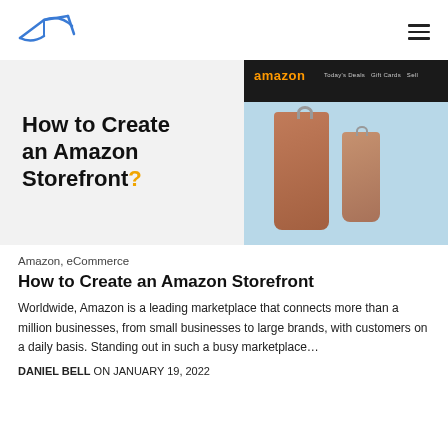[Figure (logo): Bird/paper-airplane logo in blue outline style]
[Figure (illustration): Hero banner with light grey background. Left side shows bold text 'How to Create an Amazon Storefront?' Right side shows a photo of Amazon website on a screen with clothing items (coats on hangers) visible.]
Amazon, eCommerce
How to Create an Amazon Storefront
Worldwide, Amazon is a leading marketplace that connects more than a million businesses, from small businesses to large brands, with customers on a daily basis. Standing out in such a busy marketplace…
DANIEL BELL ON JANUARY 19, 2022